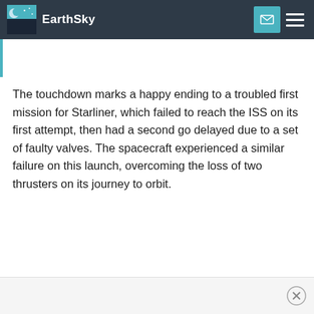EarthSky
The touchdown marks a happy ending to a troubled first mission for Starliner, which failed to reach the ISS on its first attempt, then had a second go delayed due to a set of faulty valves. The spacecraft experienced a similar failure on this launch, overcoming the loss of two thrusters on its journey to orbit.